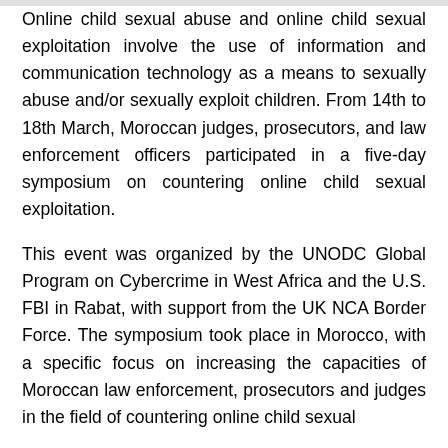Online child sexual abuse and online child sexual exploitation involve the use of information and communication technology as a means to sexually abuse and/or sexually exploit children. From 14th to 18th March, Moroccan judges, prosecutors, and law enforcement officers participated in a five-day symposium on countering online child sexual exploitation.
This event was organized by the UNODC Global Program on Cybercrime in West Africa and the U.S. FBI in Rabat, with support from the UK NCA Border Force. The symposium took place in Morocco, with a specific focus on increasing the capacities of Moroccan law enforcement, prosecutors and judges in the field of countering online child sexual